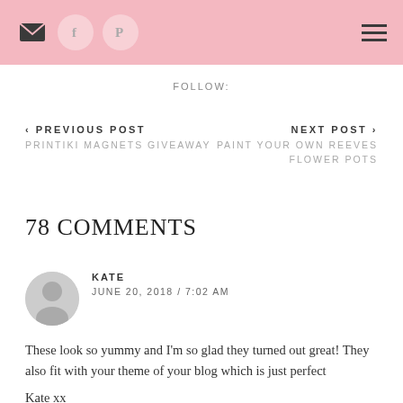Social icons header bar with email, Facebook, Pinterest icons and hamburger menu
FOLLOW:
< PREVIOUS POST
PRINTIKI MAGNETS GIVEAWAY
NEXT POST >
PAINT YOUR OWN REEVES FLOWER POTS
78 COMMENTS
KATE
JUNE 20, 2018 / 7:02 AM
These look so yummy and I'm so glad they turned out great! They also fit with your theme of your blog which is just perfect
Kate xx